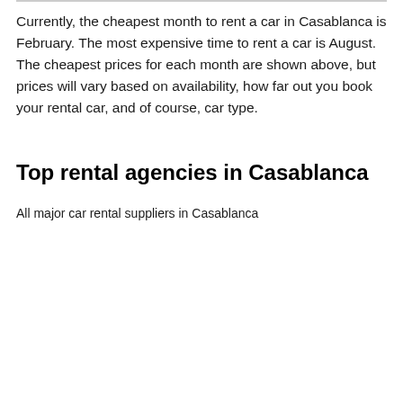Currently, the cheapest month to rent a car in Casablanca is February. The most expensive time to rent a car is August. The cheapest prices for each month are shown above, but prices will vary based on availability, how far out you book your rental car, and of course, car type.
Top rental agencies in Casablanca
All major car rental suppliers in Casablanca